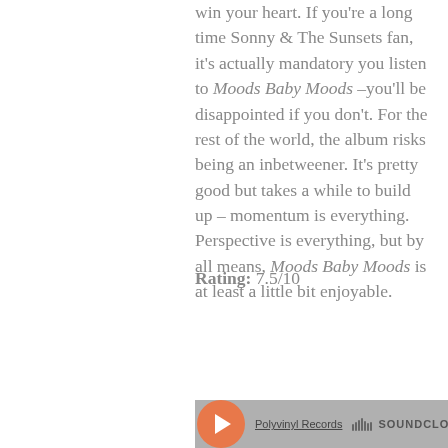win your heart. If you're a long time Sonny & The Sunsets fan, it's actually mandatory you listen to Moods Baby Moods –you'll be disappointed if you don't. For the rest of the world, the album risks being an inbetweener. It's pretty good but takes a while to build up – momentum is everything. Perspective is everything, but by all means, Moods Baby Moods is at least a little bit enjoyable.
Rating: 7.5/10
[Figure (screenshot): SoundCloud embedded player widget showing Polyvinyl Records link and SoundCloud logo with play button]